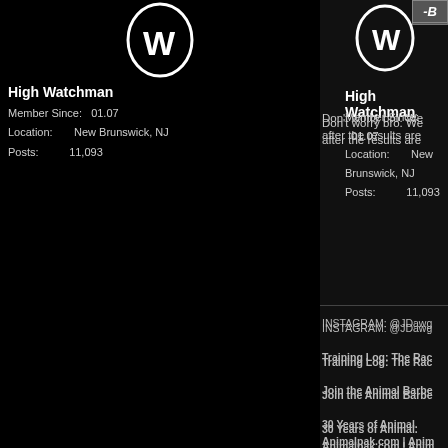[Figure (logo): White animal/barbell logo on black background, top left area]
High Watchman
Member Since: 01.07
Location: New Brunswick, NJ
Posts: 11,093
-B
Don't worry bro. We after the results are
INSTAGRAM: @JDawg
Training Log: The Rac
Join the Animal Barbe
30 Years of Animal. Animalpak.com | Anim "Stacking 101"
"To educate a man in m
09-04-07, 11:20 am
ghost •
ABC Coordinator: Detroit
[Figure (logo): Animal Barbell Club logo - circle with A inside]
Animal Barbell Club
awesome results so out.